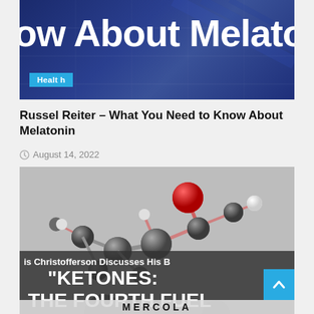[Figure (screenshot): Dark blue banner header with text 'ow About Melato' (partial, cropped) in large white bold font, with a cyan 'Health' badge in the lower left]
Russel Reiter – What You Need to Know About Melatonin
August 14, 2022
[Figure (screenshot): 3D molecular structure illustration (melatonin molecule with red and gray spheres) overlaid with a dark semi-transparent banner. Text reads: 'is Christofferson Discusses His B' (partial), '"KETONES:', 'THE FOURTH FUEL' and 'MERCOLA' at bottom. Blue scroll-to-top button with up arrow in bottom right corner.]